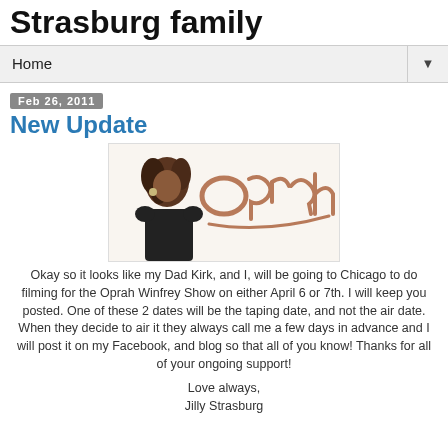Strasburg family
Home
Feb 26, 2011
New Update
[Figure (photo): Oprah Winfrey Show logo with photo of Oprah Winfrey]
Okay so it looks like my Dad Kirk, and I, will be going to Chicago to do filming for the Oprah Winfrey Show on either April 6 or 7th. I will keep you posted. One of these 2 dates will be the taping date, and not the air date. When they decide to air it they always call me a few days in advance and I will post it on my Facebook, and blog so that all of you know! Thanks for all of your ongoing support!
Love always,
Jilly Strasburg